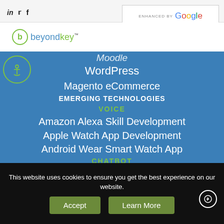in | Twitter | f | ENHANCED BY Google
[Figure (logo): beyondkey logo with green circle and stylized b]
Moodle
WordPress
Magento eCommerce
EMERGING TECHNOLOGIES
VOICE
Amazon Alexa Skill Development
Apple Watch App Development
Android Wear Smart Watch App
CHATBOT
INTERNET OF THINGS
AI & MACHINE LEARNING
This website uses cookies to ensure you get the best experience on our website.
Accept | Learn More